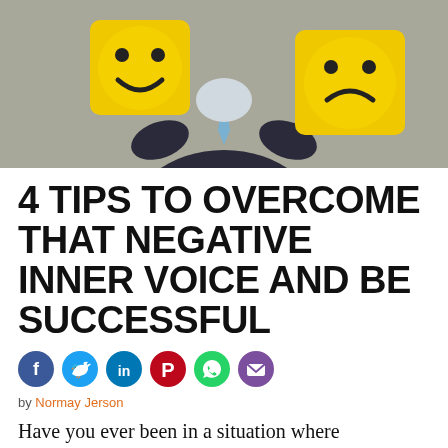[Figure (photo): A man in a dark suit and blue tie holding two yellow emoji-face masks — one happy face in front of his face and one sad face to the right — against a grey background.]
4 TIPS TO OVERCOME THAT NEGATIVE INNER VOICE AND BE SUCCESSFUL
[Figure (infographic): Social sharing icons row: Facebook (blue), Twitter (light blue), LinkedIn (dark blue), Pinterest (red), WhatsApp (green), Email (purple)]
by Normay Jerson
Have you ever been in a situation where